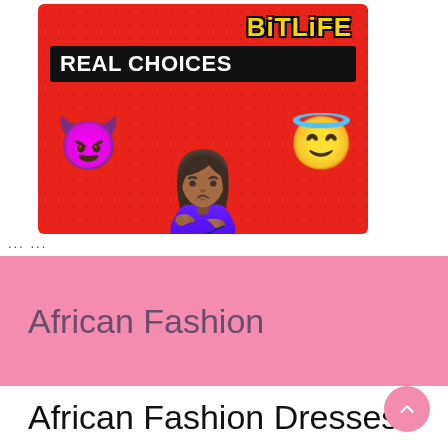[Figure (illustration): BitLife Real Choices app promotional image on red dotted background, featuring a woman emoji holding a purple devil emoji in left hand and a golden angel/smiling halo emoji in right hand. 'BitLife' logo in yellow at top right, 'REAL CHOICES' banner in white bold text on black background below the logo.]
... ...
African Fashion
African Fashion Dresses